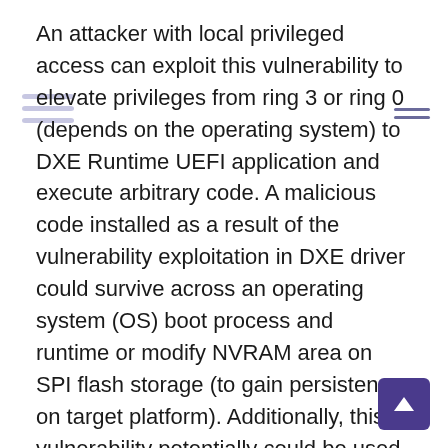An attacker with local privileged access can exploit this vulnerability to elevate privileges from ring 3 or ring 0 (depends on the operating system) to DXE Runtime UEFI application and execute arbitrary code. A malicious code installed as a result of the vulnerability exploitation in DXE driver could survive across an operating system (OS) boot process and runtime or modify NVRAM area on SPI flash storage (to gain persistence on target platform). Additionally, this vulnerability potentially could be used by a threat actors to bypass OS security mechanisms (modify privileged memory or runtime variables), influence on OS boot process, and in some cases would allow an